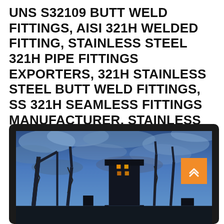UNS S32109 BUTT WELD FITTINGS, AISI 321H WELDED FITTING, STAINLESS STEEL 321H PIPE FITTINGS EXPORTERS, 321H STAINLESS STEEL BUTT WELD FITTINGS, SS 321H SEAMLESS FITTINGS MANUFACTURER, STAINLESS STEEL 321H BUTTWELD FITTINGS SUPPLIER IN MUMBAI, INDIA.
[Figure (photo): Industrial scene photographed at dusk or dawn showing silhouettes of oil derricks, cranes, and a large industrial tower structure against a dramatic blue cloudy sky. Lights visible on the tower structure.]